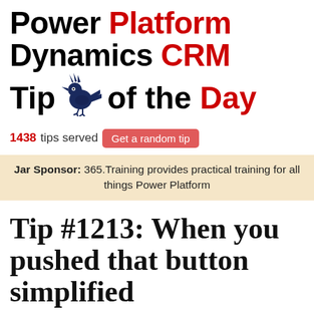Power Platform Dynamics CRM Tip of the Day
1438 tips served  Get a random tip
Jar Sponsor: 365.Training provides practical training for all things Power Platform
Tip #1213: When you pushed that button simplified